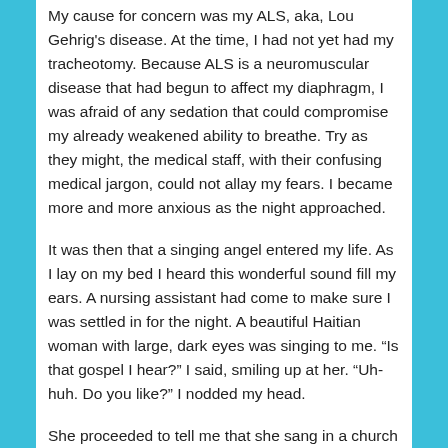My cause for concern was my ALS, aka, Lou Gehrig's disease. At the time, I had not yet had my tracheotomy. Because ALS is a neuromuscular disease that had begun to affect my diaphragm, I was afraid of any sedation that could compromise my already weakened ability to breathe. Try as they might, the medical staff, with their confusing medical jargon, could not allay my fears. I became more and more anxious as the night approached.
It was then that a singing angel entered my life. As I lay on my bed I heard this wonderful sound fill my ears. A nursing assistant had come to make sure I was settled in for the night. A beautiful Haitian woman with large, dark eyes was singing to me. “Is that gospel I hear?” I said, smiling up at her. “Uh-huh. Do you like?” I nodded my head.
She proceeded to tell me that she sang in a church choir in Boston. I responded that her voice was beautiful and that it must be some choir! She smiled and seemed to study my face. “Are you afraid of what’s going to happen to you tomorrow?” All my fears came flooding back in that